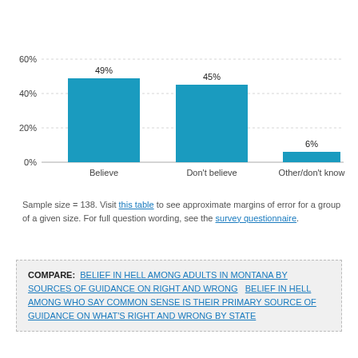[Figure (bar-chart): ]
Sample size = 138. Visit this table to see approximate margins of error for a group of a given size. For full question wording, see the survey questionnaire.
COMPARE: BELIEF IN HELL AMONG ADULTS IN MONTANA BY SOURCES OF GUIDANCE ON RIGHT AND WRONG   BELIEF IN HELL AMONG WHO SAY COMMON SENSE IS THEIR PRIMARY SOURCE OF GUIDANCE ON WHAT'S RIGHT AND WRONG BY STATE